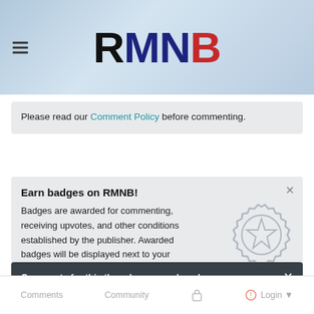RMNB
Please read our Comment Policy before commenting.
Earn badges on RMNB!
Badges are awarded for commenting, receiving upvotes, and other conditions established by the publisher. Awarded badges will be displayed next to your name in comments on this site as well as on your profile.
See the available badges
Comments for this thread are now closed
Comments  Community  Login